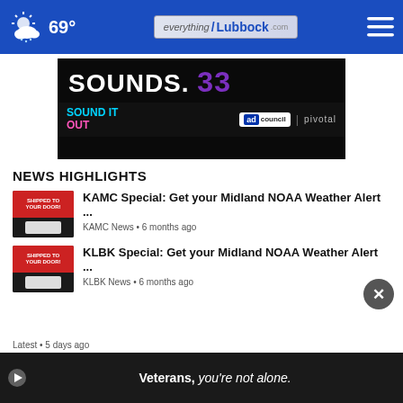69° everything/Lubbock.com
[Figure (screenshot): Ad banner: SOUNDS. with Sound It Out and Ad Council / Pivotal branding on dark background]
NEWS HIGHLIGHTS
[Figure (screenshot): Thumbnail image for KAMC Special news article - shipped to your door advertisement image]
KAMC Special: Get your Midland NOAA Weather Alert ...
KAMC News • 6 months ago
[Figure (screenshot): Thumbnail image for KLBK Special news article - shipped to your door advertisement image]
KLBK Special: Get your Midland NOAA Weather Alert ...
KLBK News • 6 months ago
[Figure (screenshot): Video ad banner: Veterans, you're not alone. with play button]
Latest • 5 days ago